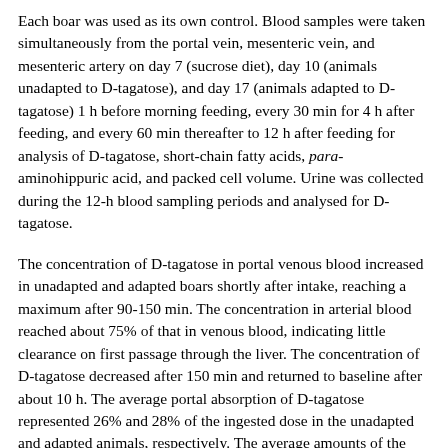Each boar was used as its own control. Blood samples were taken simultaneously from the portal vein, mesenteric vein, and mesenteric artery on day 7 (sucrose diet), day 10 (animals unadapted to D-tagatose), and day 17 (animals adapted to D-tagatose) 1 h before morning feeding, every 30 min for 4 h after feeding, and every 60 min thereafter to 12 h after feeding for analysis of D-tagatose, short-chain fatty acids, para-aminohippuric acid, and packed cell volume. Urine was collected during the 12-h blood sampling periods and analysed for D-tagatose.
The concentration of D-tagatose in portal venous blood increased in unadapted and adapted boars shortly after intake, reaching a maximum after 90-150 min. The concentration in arterial blood reached about 75% of that in venous blood, indicating little clearance on first passage through the liver. The concentration of D-tagatose decreased after 150 min and returned to baseline after about 10 h. The average portal absorption of D-tagatose represented 26% and 28% of the ingested dose in the unadapted and adapted animals, respectively. The average amounts of the ingested dose excreted in the urine were 4.7% by unadapted boars and 5.3% by adapted animals, and the average amounts of the D-tagatose absorbed into the portal blood that were excreted in the urine were 18 and 19%, respectively. The net portal absorption of short-chain fatty acids was slightly greater in boars fed D-tagatose than in those fed sucrose in the diet, but no significant difference